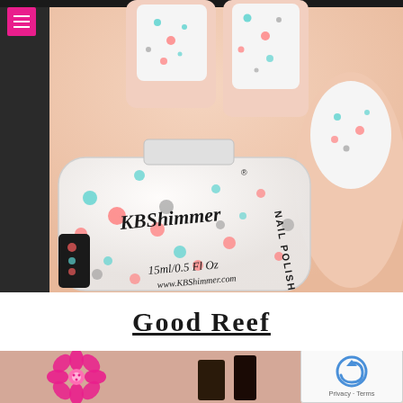[Figure (photo): Close-up photo of a hand holding a KBShimmer Nail Polish bottle labeled 'Good Reef' with white base and colorful confetti glitter flecks (pink/coral, teal/mint, gray). The nails are painted in the same white glitter polish. Bottle text: KBShimmer Nail Polish, 15ml/0.5 Fl Oz, www.KBShimmer.com]
Good Reef
[Figure (photo): Partial bottom photo showing a close-up of nails/nail art with a pink flower icon visible on the left side. The image is cut off. A reCAPTCHA privacy badge is overlaid on the bottom right.]